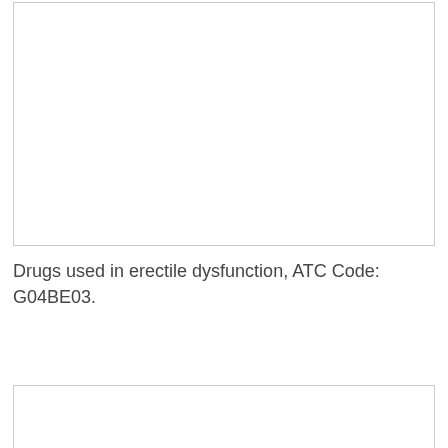[Figure (other): Empty white bordered box at top of page]
Drugs used in erectile dysfunction, ATC Code: G04BE03.
[Figure (other): Empty white bordered box at bottom of page]